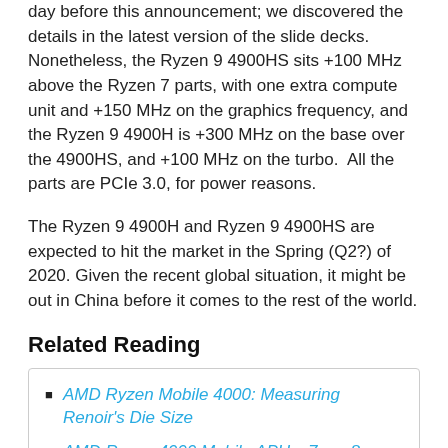day before this announcement; we discovered the details in the latest version of the slide decks. Nonetheless, the Ryzen 9 4900HS sits +100 MHz above the Ryzen 7 parts, with one extra compute unit and +150 MHz on the graphics frequency, and the Ryzen 9 4900H is +300 MHz on the base over the 4900HS, and +100 MHz on the turbo.  All the parts are PCIe 3.0, for power reasons.
The Ryzen 9 4900H and Ryzen 9 4900HS are expected to hit the market in the Spring (Q2?) of 2020. Given the recent global situation, it might be out in China before it comes to the rest of the world.
Related Reading
AMD Ryzen Mobile 4000: Measuring Renoir's Die Size
AMD Ryzen 4000 Mobile APUs: 7nm, 8-core on both 15W and 45W, Coming Q1
AMD Zen 2 Microarchitecture Analysis: Ryzen 3000 and EPYC Rome